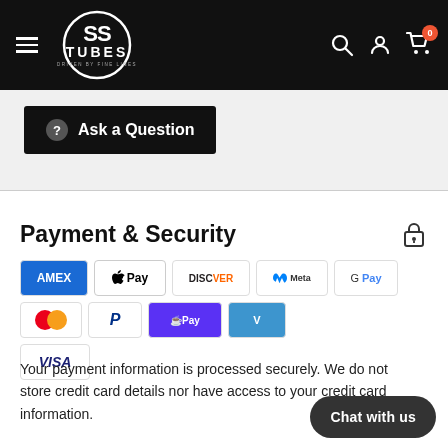[Figure (screenshot): SS Tubes website header with logo, hamburger menu, search, account, and cart icons on black background]
[Figure (screenshot): Ask a Question button with question mark icon on dark background]
Payment & Security
[Figure (infographic): Payment method icons: Amex, Apple Pay, Discover, Meta Pay, Google Pay, Mastercard, PayPal, Shop Pay, Venmo, Visa]
Your payment information is processed securely. We do not store credit card details nor have access to your credit card information.